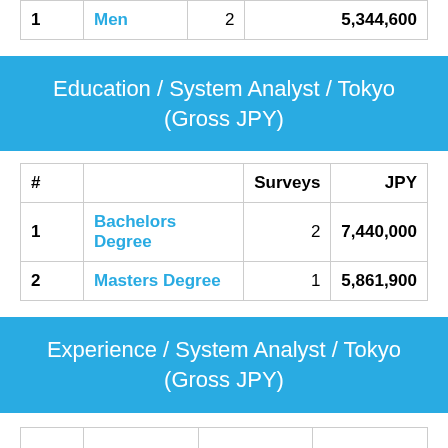| # |  | Surveys | JPY |
| --- | --- | --- | --- |
| 1 | Men | 2 | 5,344,600 |
Education / System Analyst / Tokyo (Gross JPY)
| # |  | Surveys | JPY |
| --- | --- | --- | --- |
| 1 | Bachelors Degree | 2 | 7,440,000 |
| 2 | Masters Degree | 1 | 5,861,900 |
Experience / System Analyst / Tokyo (Gross JPY)